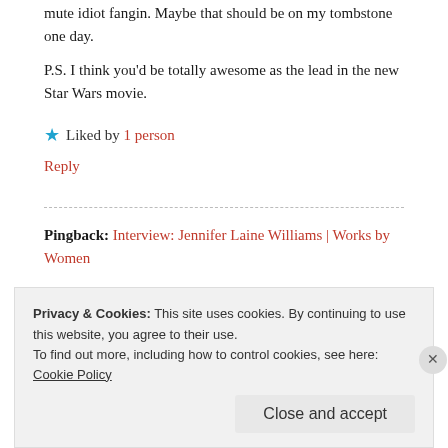mute idiot fangin. Maybe that should be on my tombstone one day.
P.S. I think you'd be totally awesome as the lead in the new Star Wars movie.
★ Liked by 1 person
Reply
Pingback: Interview: Jennifer Laine Williams | Works by Women
Privacy & Cookies: This site uses cookies. By continuing to use this website, you agree to their use.
To find out more, including how to control cookies, see here: Cookie Policy